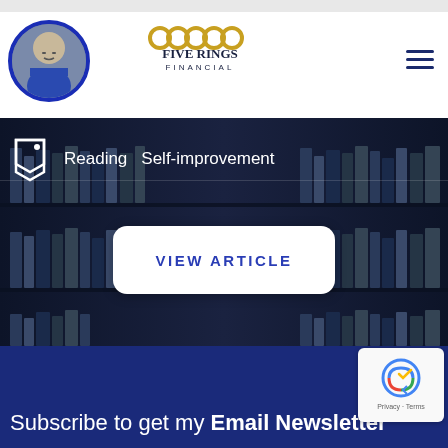[Figure (screenshot): Top navigation bar of Five Rings Financial website with profile photo, logo, hamburger menu, and English language selector]
[Figure (photo): Bookshelf hero image with Reading and Self-improvement tags and VIEW ARTICLE button]
Reading   Self-improvement
VIEW ARTICLE
Subscribe to get my Email Newsletter